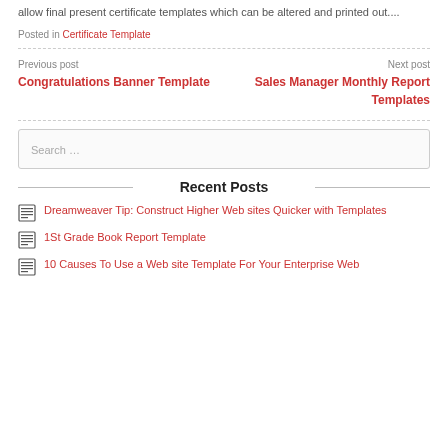allow final present certificate templates which can be altered and printed out....
Posted in Certificate Template
Previous post
Congratulations Banner Template
Next post
Sales Manager Monthly Report Templates
Search …
Recent Posts
Dreamweaver Tip: Construct Higher Web sites Quicker with Templates
1St Grade Book Report Template
10 Causes To Use a Web site Template For Your Enterprise Web